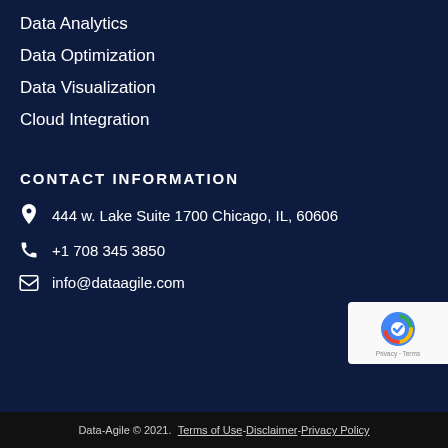Data Analytics
Data Optimization
Data Visualization
Cloud Integration
CONTACT INFORMATION
444 w. Lake Suite 1700 Chicago, IL, 60606
+1 708 345 3850
info@dataagile.com
Data-Agile © 2021.  Terms of Use - Disclaimer - Privacy Policy